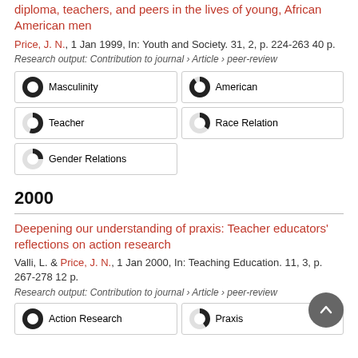diploma, teachers, and peers in the lives of young, African American men
Price, J. N., 1 Jan 1999, In: Youth and Society. 31, 2, p. 224-263 40 p.
Research output: Contribution to journal › Article › peer-review
[Figure (infographic): Keyword badges with donut/pie fill indicators: Masculinity (100%), American (90%), Teacher (55%), Race Relation (35%), Gender Relations (25%)]
2000
Deepening our understanding of praxis: Teacher educators' reflections on action research
Valli, L. & Price, J. N., 1 Jan 2000, In: Teaching Education. 11, 3, p. 267-278 12 p.
Research output: Contribution to journal › Article › peer-review